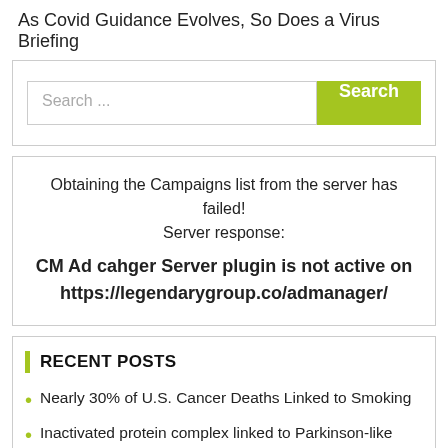As Covid Guidance Evolves, So Does a Virus Briefing
[Figure (screenshot): Search input box with placeholder text 'Search ...' and a green 'Search' button]
Obtaining the Campaigns list from the server has failed! Server response: CM Ad cahger Server plugin is not active on https://legendarygroup.co/admanager/
RECENT POSTS
Nearly 30% of U.S. Cancer Deaths Linked to Smoking
Inactivated protein complex linked to Parkinson-like symptoms